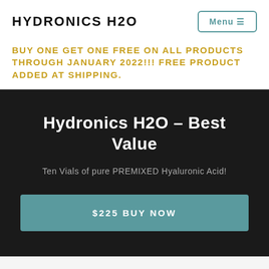HYDRONICS H2O
BUY ONE GET ONE FREE ON ALL PRODUCTS THROUGH JANUARY 2022!!! FREE PRODUCT ADDED AT SHIPPING.
Hydronics H2O - Best Value
Ten Vials of pure PREMIXED Hyaluronic Acid!
$225 BUY NOW